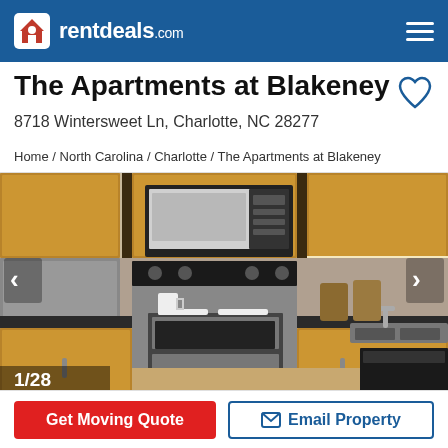rentdeals.com
The Apartments at Blakeney
8718 Wintersweet Ln, Charlotte, NC 28277
Home / North Carolina / Charlotte / The Apartments at Blakeney
[Figure (photo): Kitchen interior of The Apartments at Blakeney showing stainless steel appliances including a range, microwave, refrigerator, and sink with dark countertops and wood cabinets. Image counter shows 1/28.]
Get Moving Quote
Email Property